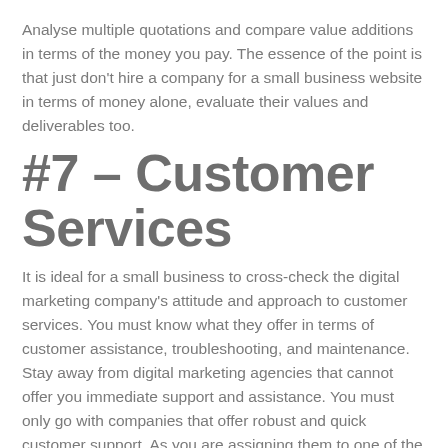Analyse multiple quotations and compare value additions in terms of the money you pay. The essence of the point is that just don't hire a company for a small business website in terms of money alone, evaluate their values and deliverables too.
#7 – Customer Services
It is ideal for a small business to cross-check the digital marketing company's attitude and approach to customer services. You must know what they offer in terms of customer assistance, troubleshooting, and maintenance. Stay away from digital marketing agencies that cannot offer you immediate support and assistance. You must only go with companies that offer robust and quick customer support. As you are assigning them to one of the most important decisions of your business, you must ensure that they can meet your requirements and do the job now.